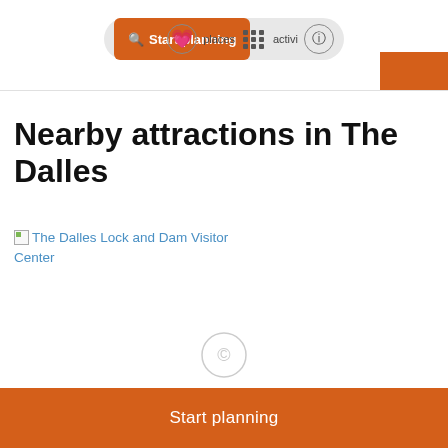Start planning  places  activities
Nearby attractions in The Dalles
[Figure (photo): Broken image placeholder for The Dalles Lock and Dam Visitor Center with link text in blue]
GOVERNMENT BUILDING
The Dalles Lock and Dam Visitor Center
Start planning